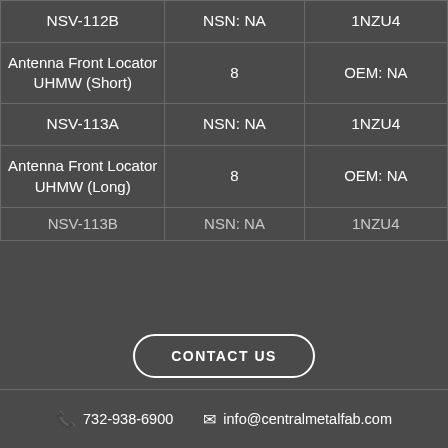| NSV-112B | NSN: NA | 1NZU4 |
| Antenna Front Locator UHMW (Short) | 8 | OEM: NA |
| NSV-113A | NSN: NA | 1NZU4 |
| Antenna Front Locator UHMW (Long) | 8 | OEM: NA |
| NSV-113B | NSN: NA | 1NZU4 |
CONTACT US
732-938-6900  info@centralmetalfab.com